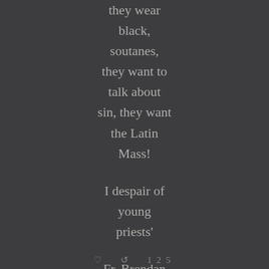they wear black, soutanes, they want to talk about sin, they want the Latin Mass!
I despair of young priests'
Fr. Brendan Hoban, who has an influential role in the Irish Synod
♡  ↺  125